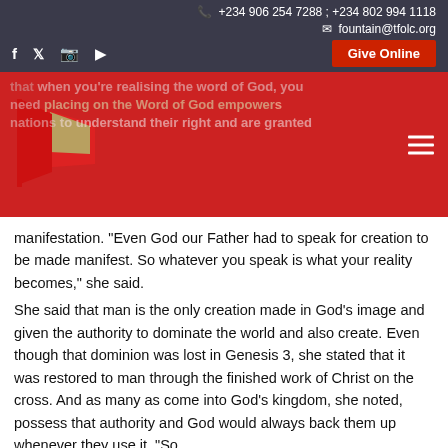+234 906 254 7288 ; +234 802 994 1118 | fountain@tfolc.org
[Figure (logo): Red flag logo on red banner background with partially visible overlay text and hamburger menu icon]
manifestation. “Even God our Father had to speak for creation to be made manifest. So whatever you speak is what your reality becomes,” she said.
She said that man is the only creation made in God’s image and given the authority to dominate the world and also create. Even though that dominion was lost in Genesis 3, she stated that it was restored to man through the finished work of Christ on the cross. And as many as come into God’s kingdom, she noted, possess that authority and God would always back them up whenever they use it. “So